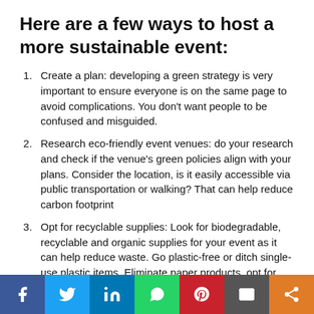Here are a few ways to host a more sustainable event:
Create a plan: developing a green strategy is very important to ensure everyone is on the same page to avoid complications. You don't want people to be confused and misguided.
Research eco-friendly event venues: do your research and check if the venue's green policies align with your plans. Consider the location, is it easily accessible via public transportation or walking? That can help reduce carbon footprint
Opt for recyclable supplies: Look for biodegradable, recyclable and organic supplies for your event as it can help reduce waste. Go plastic-free or ditch single-use plastic items. Eliminate paper products, opt for LED lighting.
[Figure (infographic): Social media sharing bar with icons for Facebook, Twitter, LinkedIn, WhatsApp, Pinterest, Email, and Share]